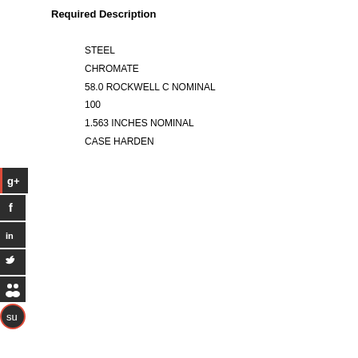Required Description
STEEL
CHROMATE
58.0 ROCKWELL C NOMINAL
100
1.563 INCHES NOMINAL
CASE HARDEN
[Figure (other): Social media share buttons: Google+, Facebook, LinkedIn, Twitter, SlideShare, StumbleUpon]